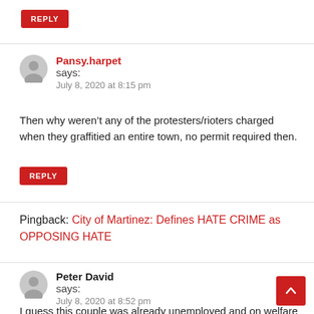REPLY
Pansy.harpet says: July 8, 2020 at 8:15 pm
Then why weren’t any of the protesters/rioters charged when they graffitied an entire town, no permit required then.
REPLY
Pingback: City of Martinez: Defines HATE CRIME as OPPOSING HATE
Peter David says: July 8, 2020 at 8:52 pm
I guess this couple was already unemployed and on welfare